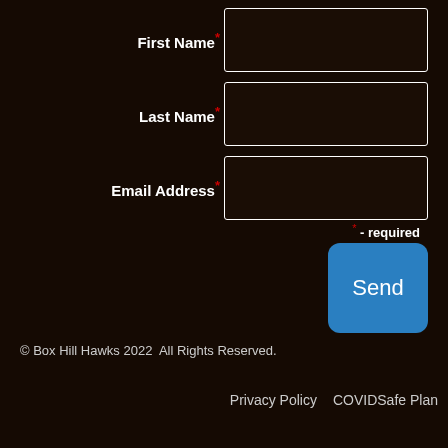First Name* [input field]
Last Name* [input field]
Email Address* [input field]
* - required
Send
© Box Hill Hawks 2022  All Rights Reserved.
Privacy Policy   COVIDSafe Plan